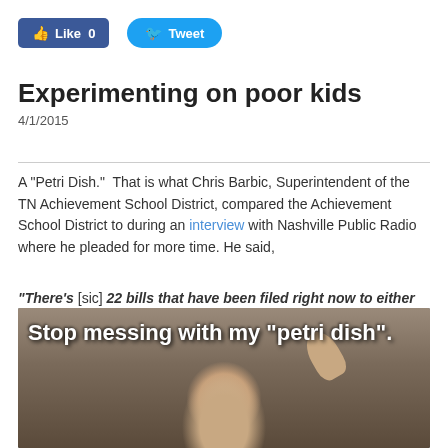[Figure (other): Facebook Like button (0 likes) and Twitter Tweet button social sharing buttons]
Experimenting on poor kids
4/1/2015
A "Petri Dish." That is what Chris Barbic, Superintendent of the TN Achievement School District, compared the Achievement School District to during an interview with Nashville Public Radio where he pleaded for more time. He said,
“There’s [sic] 22 bills that have been filed right now to either try to kill this thing or pull it apart, and this thing hasn’t even gotten out of the Petri dish.”
[Figure (photo): Meme image showing a bald man with glasses raising his hand, with overlaid text: Stop messing with my “petri dish”.]